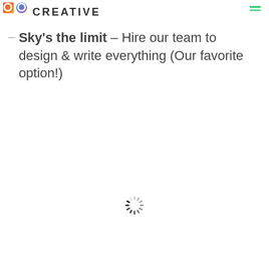CREATIVE
Sky's the limit – Hire our team to design & write everything (Our favorite option!)
[Figure (other): Loading spinner icon (circular dashed spinner graphic)]